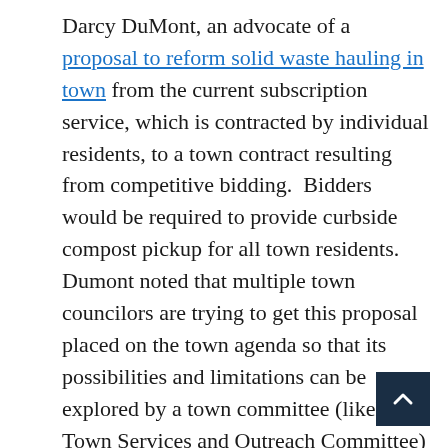Darcy DuMont, an advocate of a proposal to reform solid waste hauling in town from the current subscription service, which is contracted by individual residents, to a town contract resulting from competitive bidding.  Bidders would be required to provide curbside compost pickup for all town residents.  Dumont noted that multiple town councilors are trying to get this proposal placed on the town agenda so that its possibilities and limitations can be explored by a town committee (likely the Town Services and Outreach Committee) and that the number of endorsers of the proposal (which includes the Board of Health) continues to grow.   She said that the BOH had adopted a resolution in January requesting that the town manager and town council advise them on how can support development and implementation of